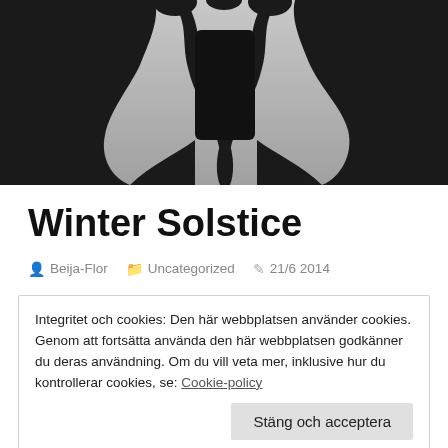[Figure (illustration): Dark silhouette of hands holding a mobile phone against a light gray gradient background]
Winter Solstice
Beija-Flor   Uncategorized   21/6 2014
Integritet och cookies: Den här webbplatsen använder cookies. Genom att fortsätta använda den här webbplatsen godkänner du deras användning. Om du vill veta mer, inklusive hur du kontrollerar cookies, se: Cookie-policy
Stäng och acceptera
twittered like a blackbird. I darted down the carpeted